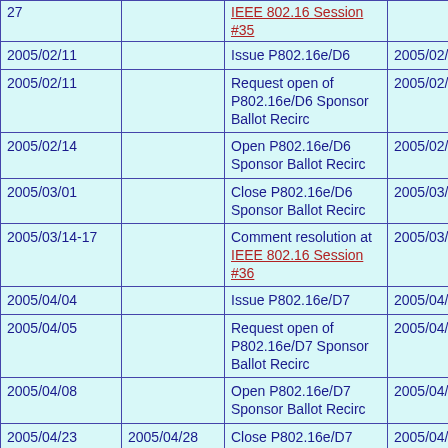| Date | Actual Date | Event | Completion Date |
| --- | --- | --- | --- |
| 27 |  | IEEE 802.16 Session #35 |  |
| 2005/02/11 |  | Issue P802.16e/D6 | 2005/02/18 |
| 2005/02/11 |  | Request open of P802.16e/D6 Sponsor Ballot Recirc | 2005/02/18 |
| 2005/02/14 |  | Open P802.16e/D6 Sponsor Ballot Recirc | 2005/02/22 |
| 2005/03/01 |  | Close P802.16e/D6 Sponsor Ballot Recirc | 2005/03/09 |
| 2005/03/14-17 |  | Comment resolution at IEEE 802.16 Session #36 | 2005/03/17 |
| 2005/04/04 |  | Issue P802.16e/D7 | 2005/04/08 |
| 2005/04/05 |  | Request open of P802.16e/D7 Sponsor Ballot Recirc | 2005/04/10 |
| 2005/04/08 |  | Open P802.16e/D7 Sponsor Ballot Recirc | 2005/04/12 |
| 2005/04/23 | 2005/04/28 | Close P802.16e/D7 Sponsor Ballot Recirc | 2005/04/28 |
| 2005/05/02-05 |  | Comment resolution at IEEE 802.16 Session #37 | 2005/05/05 |
| 2005/05/23 |  | Issue P802.16e/D8 | 2005/05/20 |
|  |  | Request open of |  |